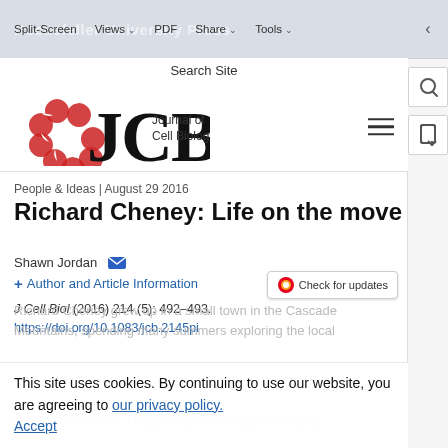Split-Screen  Views  PDF  Share  Tools  Rockefeller University Press
Search Site
[Figure (logo): JCB Journal of Cell Biology logo with red circular motif and bold JCB letters]
People & Ideas | August 29 2016
Richard Cheney: Life on the move
Shawn Jordan
+ Author and Article Information
J Cell Biol (2016) 214 (5): 492–493.
https://doi.org/10.1083/jcb.2145pi
This site uses cookies. By continuing to use our website, you are agreeing to our privacy policy.
Accept